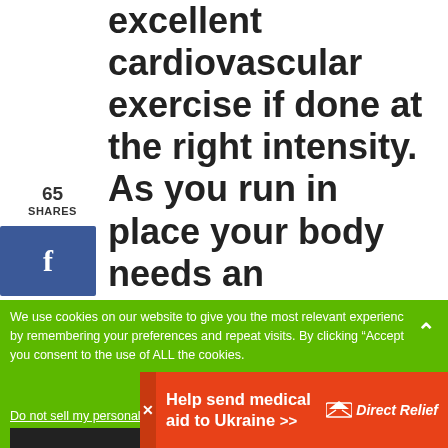excellent cardiovascular exercise if done at the right intensity. As you run in place your body needs an increased level of oxygen as the heart rate increases. Once your heart rate reaches your target heart rate or
65 SHARES
[Figure (other): Facebook share button with 'f' icon in blue]
We use cookies on our website to give you the most relevant experience by remembering your preferences and repeat visits. By clicking “Accept”, you consent to the use of ALL the cookies.
Do not sell my personal information.
No compatible source was found for this media.
[Figure (other): Help send medical aid to Ukraine - Direct Relief advertisement banner]